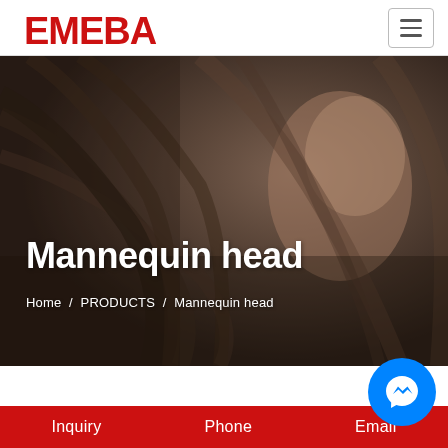EMEDA [logo] / hamburger menu
[Figure (photo): Dark-toned hero background photo of a woman with long flowing brown/dark hair, used as a banner image for Mannequin head product page]
Mannequin head
Home / PRODUCTS / Mannequin head
[Figure (illustration): Blue circular Facebook Messenger chat bubble icon floating on the right side]
Inquiry   Phone   Email